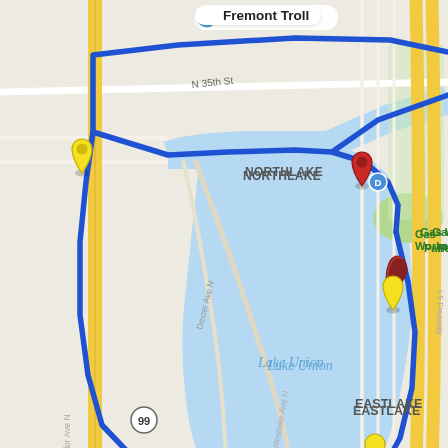[Figure (map): Google Maps screenshot showing a running/cycling route around Lake Union in Seattle, WA. The route is shown as a thick blue line forming a loop around the lake. Key landmarks labeled include: Fremont Troll (top, with camera icon), Gas Works Park, Lake Union, Northlake, Eastlake, Westlake, Museum of History & Industry (MOHAI). Street labels include N 35th St, Westlake Ave N, Dexter Ave N, Taylor Ave N, I-5 Freeway. Route markers include yellow push pins at multiple waypoints, a red push pin at point D near Gas Works Park, and lettered waypoints A and B at the south end near MOHAI. Highway 99 circle marker visible on the left side.]